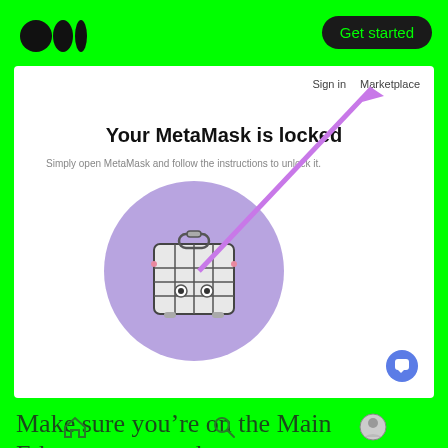[Figure (screenshot): Medium website header with logo and Get started button, and a screenshot of a MetaMask locked wallet page showing 'Your MetaMask is locked' with a purple circle containing a pet carrier illustration, and a purple arrow pointing from the circle to the Marketplace navigation link]
Make sure you’re on the Main Ethereum network.